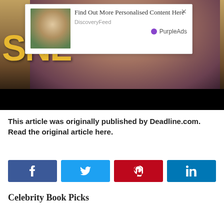[Figure (screenshot): Screenshot of a webpage showing a woman with long dark hair in front of SNL text, with an ad overlay popup showing 'Find Out More Personalised Content Here' from DiscoveryFeed and PurpleAds, and social sharing buttons below.]
This article was originally published by Deadline.com. Read the original article here.
Celebrity Book Picks